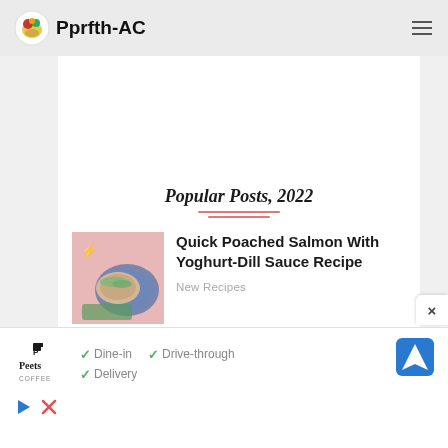Pprfth-AC
Popular Posts, 2022
[Figure (photo): Thumbnail photo of poached salmon dish on a blue decorative plate with green garnish]
Quick Poached Salmon With Yoghurt-Dill Sauce Recipe
New Recipes
[Figure (screenshot): Advertisement banner for Peet's Coffee showing Dine-in, Drive-through, and Delivery options with a map navigation icon]
Dine-in   Drive-through   Delivery